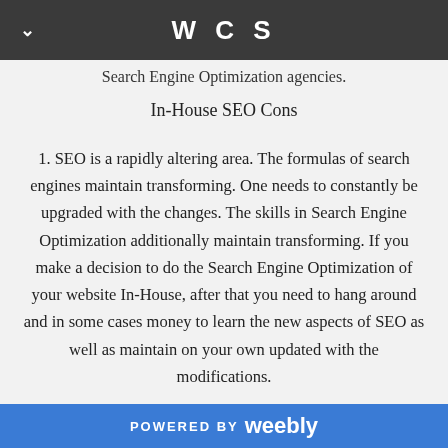WCS
Search Engine Optimization agencies.
In-House SEO Cons
1. SEO is a rapidly altering area. The formulas of search engines maintain transforming. One needs to constantly be upgraded with the changes. The skills in Search Engine Optimization additionally maintain transforming. If you make a decision to do the Search Engine Optimization of your website In-House, after that you need to hang around and in some cases money to learn the new aspects of SEO as well as maintain on your own updated with the modifications.
POWERED BY weebly